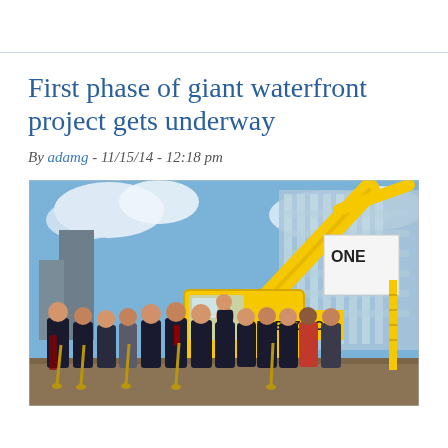First phase of giant waterfront project gets underway
By adamg - 11/15/14 - 12:18 pm
[Figure (photo): Groundbreaking ceremony photo: group of people in business attire holding shovels in front of a large yellow construction crane/excavator labeled DERENZO CO., with modern glass office buildings in background under blue sky with clouds.]